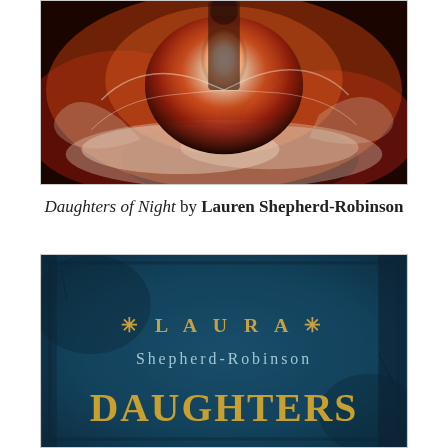[Figure (photo): Book cover image showing an ethereal glowing figure surrounded by swirling red and orange light energy with white smoke/mist effects]
Daughters of Night by Lauren Shepherd-Robinson
[Figure (photo): Book cover for 'Daughters of Night' by Laura Shepherd-Robinson showing teal/dark blue distressed background with gold serif text reading '* LAURA * Shepherd-Robinson' and large text 'DAUGHTERS' at the bottom]